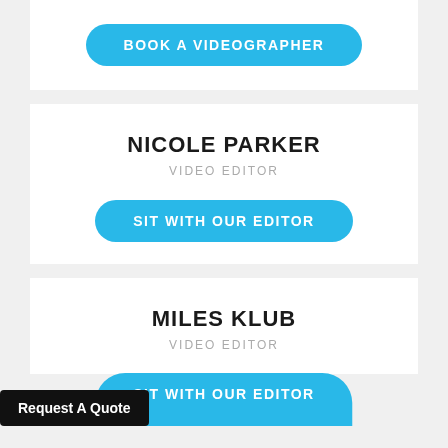BOOK A VIDEOGRAPHER
NICOLE PARKER
VIDEO EDITOR
SIT WITH OUR EDITOR
MILES KLUB
VIDEO EDITOR
Request A Quote
SIT WITH OUR EDITOR